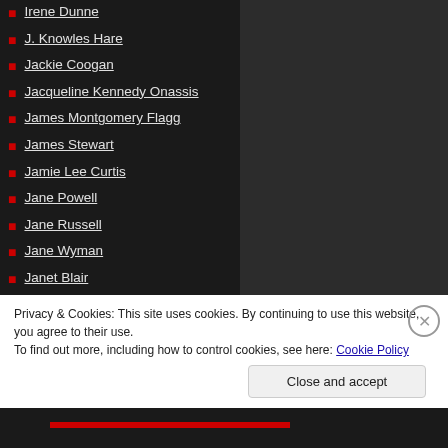Irene Dunne
J. Knowles Hare
Jackie Coogan
Jacqueline Kennedy Onassis
James Montgomery Flagg
James Stewart
Jamie Lee Curtis
Jane Powell
Jane Russell
Jane Wyman
Janet Blair
Janet Gaynor
Janet Leigh
Privacy & Cookies: This site uses cookies. By continuing to use this website, you agree to their use. To find out more, including how to control cookies, see here: Cookie Policy
Close and accept